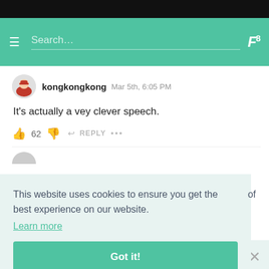[Figure (screenshot): Mobile website navigation bar with teal/green background, hamburger menu icon, search field with underline, and a white italic logo mark on the right]
kongkongkong  Mar 5th, 6:05 PM
It's actually a vey clever speech.
👍 62 👎 ↩ REPLY •••
This website uses cookies to ensure you get the best experience on our website.
Learn more
Got it!
*insert picture of  that donny that was clapping